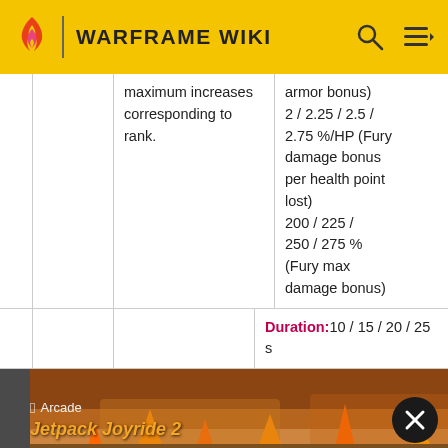WARFRAME WIKI
|  |  | maximum increases corresponding to rank. | armor bonus)
2 / 2.25 / 2.5 / 2.75 %/HP (Fury damage bonus per health point lost)
200 / 225 / 250 / 275 % (Fury max damage bonus) |
|  |  |  | Duration:10 / 15 / 20 / 25 s |
[Figure (screenshot): Apple Arcade advertisement banner for Jetpack Joyride 2 with close button]
/ 10 /
Info